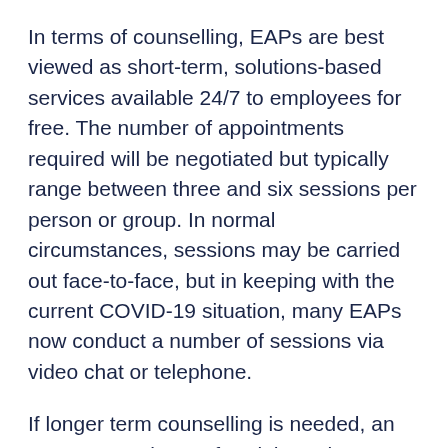In terms of counselling, EAPs are best viewed as short-term, solutions-based services available 24/7 to employees for free. The number of appointments required will be negotiated but typically range between three and six sessions per person or group. In normal circumstances, sessions may be carried out face-to-face, but in keeping with the current COVID-19 situation, many EAPs now conduct a number of sessions via video chat or telephone.
If longer term counselling is needed, an EAP may make a referral through to an associated psychologist or other mental health professional. This associate is a trained and certified medical professional that is contracted to the EAP to deliver counselling and other psychological services. While the EAP itself is free, if you are referred to an associated mental health professional you may be responsible for the associated